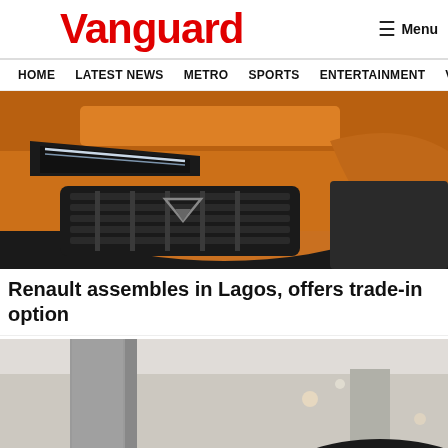Vanguard
HOME  LATEST NEWS  METRO  SPORTS  ENTERTAINMENT  VIDEOS
[Figure (photo): Close-up of an orange/bronze SUV front end with LED headlights and distinctive grille, viewed from front-right angle]
Renault assembles in Lagos, offers trade-in option
[Figure (photo): Interior or detail shot of a car showroom with grey concrete pillars and a dark vehicle partially visible]